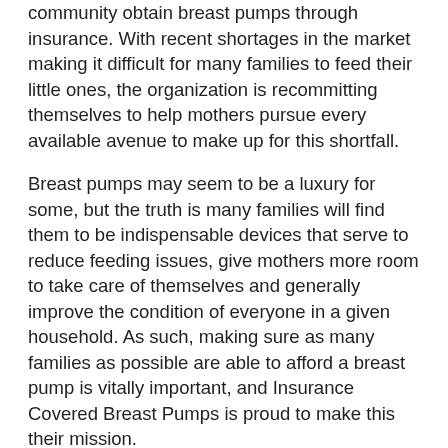community obtain breast pumps through insurance. With recent shortages in the market making it difficult for many families to feed their little ones, the organization is recommitting themselves to help mothers pursue every available avenue to make up for this shortfall.
Breast pumps may seem to be a luxury for some, but the truth is many families will find them to be indispensable devices that serve to reduce feeding issues, give mothers more room to take care of themselves and generally improve the condition of everyone in a given household. As such, making sure as many families as possible are able to afford a breast pump is vitally important, and Insurance Covered Breast Pumps is proud to make this their mission.
As a full service online breast pump provider that is Joint Commission accredited, the company makes customer service a key aspect of their services. Since families in need of